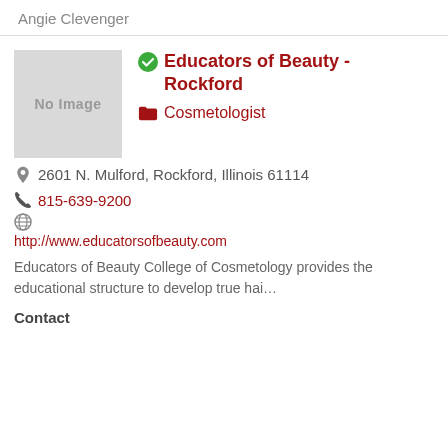Angie Clevenger
Educators of Beauty - Rockford
Cosmetologist
2601 N. Mulford, Rockford, Illinois 61114
815-639-9200
http://www.educatorsofbeauty.com
Educators of Beauty College of Cosmetology provides the educational structure to develop true hai…
Contact